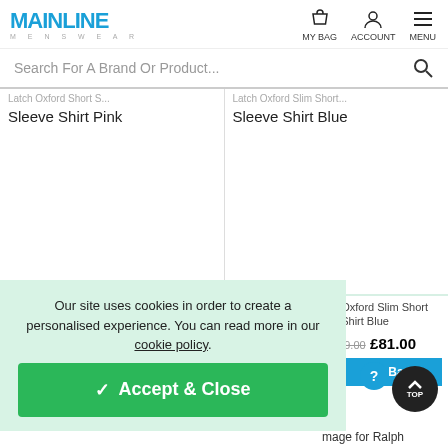[Figure (logo): Mainline Menswear logo in blue]
MY BAG   ACCOUNT   MENU
Search For A Brand Or Product...
Sleeve Shirt Pink
Sleeve Shirt Blue
Free Delivery
Free Delivery
Our site uses cookies in order to create a personalised experience. You can read more in our cookie policy.
✓ Accept & Close
Oxford Slim Short Sleeve Shirt Blue
£69.00  £81.00
d to Bag
mage for Ralph